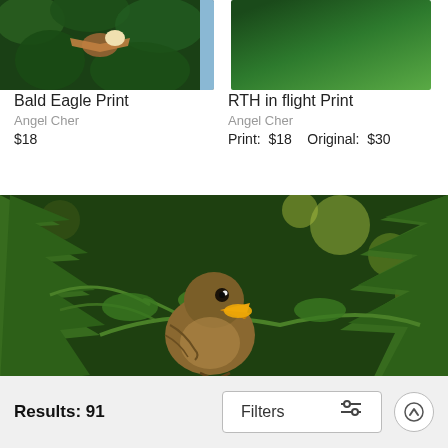[Figure (photo): Bald eagle photograph - partial view showing eagle with wings near tree branches against blue sky]
Bald Eagle Print
Angel Cher
$18
[Figure (photo): Red-tailed hawk in flight - partial view showing bird with green tree foliage background]
RTH in flight Print
Angel Cher
Print:  $18    Original:  $30
[Figure (photo): Young bird with open beak sitting among green conifer branches (cedar/thuya), beak open wide showing orange inside, brown plumage]
Results: 91
Filters